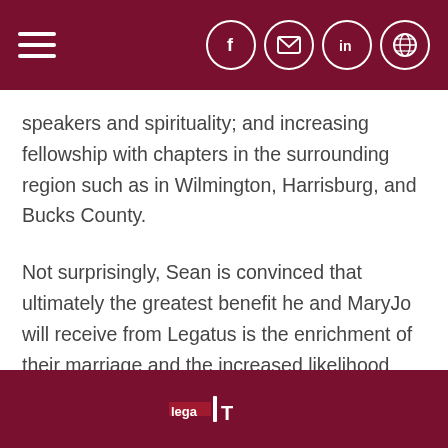Navigation header with hamburger menu and social icons (Facebook, email, LinkedIn, globe)
speakers and spirituality; and increasing fellowship with chapters in the surrounding region such as in Wilmington, Harrisburg, and Bucks County.
Not surprisingly, Sean is convinced that ultimately the greatest benefit he and MaryJo will receive from Legatus is the enrichment of their marriage and the increased likelihood that their children will be strongly connected with Christ as well.
Legatus footer logo